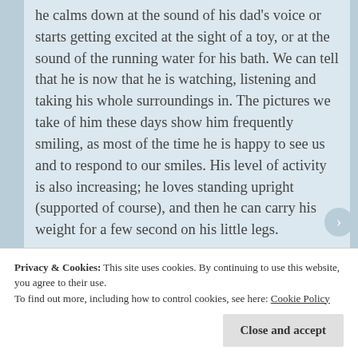he calms down at the sound of his dad's voice or starts getting excited at the sight of a toy, or at the sound of the running water for his bath. We can tell that he is now that he is watching, listening and taking his whole surroundings in. The pictures we take of him these days show him frequently smiling, as most of the time he is happy to see us and to respond to our smiles. His level of activity is also increasing; he loves standing upright (supported of course), and then he can carry his weight for a few second on his little legs.
Privacy & Cookies: This site uses cookies. By continuing to use this website, you agree to their use.
To find out more, including how to control cookies, see here: Cookie Policy